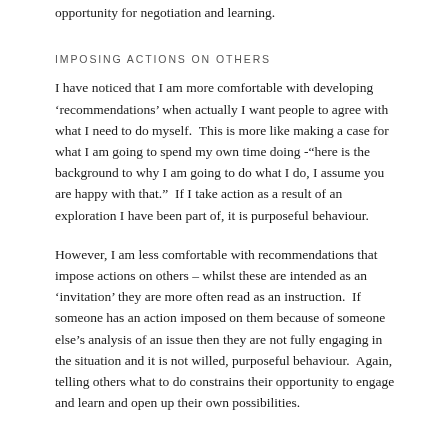opportunity for negotiation and learning.
IMPOSING ACTIONS ON OTHERS
I have noticed that I am more comfortable with developing 'recommendations' when actually I want people to agree with what I need to do myself.  This is more like making a case for what I am going to spend my own time doing -"here is the background to why I am going to do what I do, I assume you are happy with that."  If I take action as a result of an exploration I have been part of, it is purposeful behaviour.
However, I am less comfortable with recommendations that impose actions on others – whilst these are intended as an 'invitation' they are more often read as an instruction.  If someone has an action imposed on them because of someone else's analysis of an issue then they are not fully engaging in the situation and it is not willed, purposeful behaviour.  Again, telling others what to do constrains their opportunity to engage and learn and open up their own possibilities.